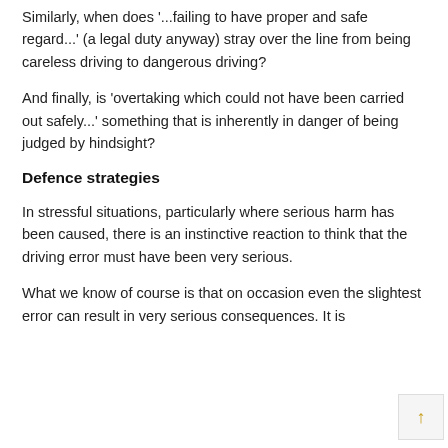Similarly, when does '...failing to have proper and safe regard...' (a legal duty anyway) stray over the line from being careless driving to dangerous driving?
And finally, is 'overtaking which could not have been carried out safely...' something that is inherently in danger of being judged by hindsight?
Defence strategies
In stressful situations, particularly where serious harm has been caused, there is an instinctive reaction to think that the driving error must have been very serious.
What we know of course is that on occasion even the slightest error can result in very serious consequences. It is